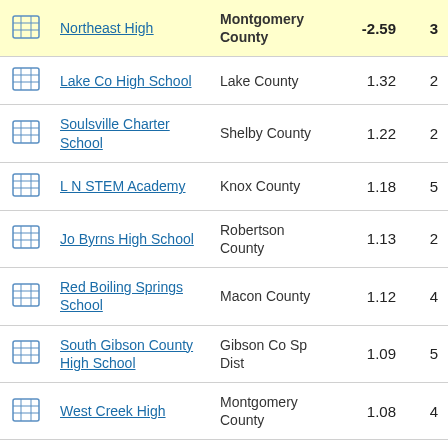|  | School | County | Score | Rank |
| --- | --- | --- | --- | --- |
| [icon] | Northeast High | Montgomery County | -2.59 | 3 |
| [icon] | Lake Co High School | Lake County | 1.32 | 2 |
| [icon] | Soulsville Charter School | Shelby County | 1.22 | 2 |
| [icon] | L N STEM Academy | Knox County | 1.18 | 5 |
| [icon] | Jo Byrns High School | Robertson County | 1.13 | 2 |
| [icon] | Red Boiling Springs School | Macon County | 1.12 | 4 |
| [icon] | South Gibson County High School | Gibson Co Sp Dist | 1.09 | 5 |
| [icon] | West Creek High | Montgomery County | 1.08 | 4 |